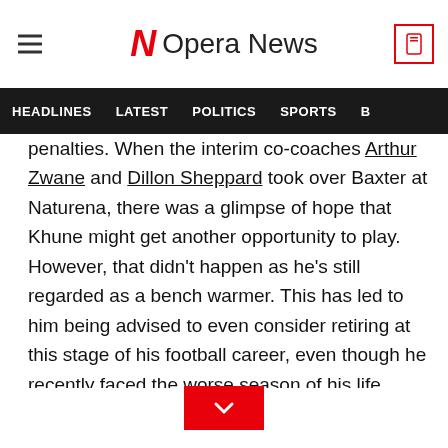Opera News
HEADLINES  LATEST  POLITICS  SPORTS
penalties. When the interim co-coaches Arthur Zwane and Dillon Sheppard took over Baxter at Naturena, there was a glimpse of hope that Khune might get another opportunity to play. However, that didn't happen as he's still regarded as a bench warmer. This has led to him being advised to even consider retiring at this stage of his football career, even though he recently faced the worse season of his life. "Khune is at the right age for a keeper to play and I don't think he is ready to be a goalkeeper coach," says retired keeper Aime Kitenge.